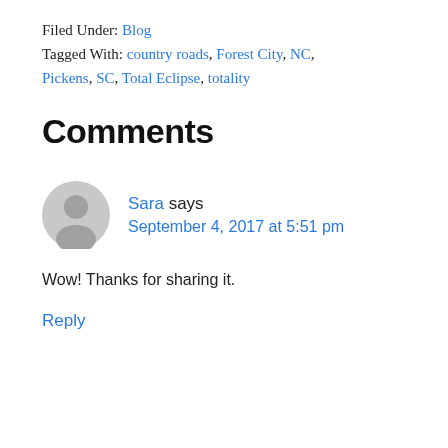Filed Under: Blog
Tagged With: country roads, Forest City, NC, Pickens, SC, Total Eclipse, totality
Comments
Sara says
September 4, 2017 at 5:51 pm
Wow! Thanks for sharing it.
Reply